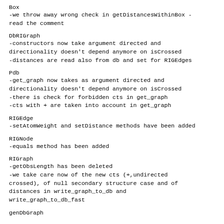Box
-we throw away wrong check in getDistancesWithinBox -read the comment
DbRIGraph
-constructors now take argument directed and directionality doesn't depend anymore on isCrossed
-distances are read also from db and set for RIGEdges
Pdb
-get_graph now takes as argument directed and directionality doesn't depend anymore on isCrossed
-there is check for forbidden cts in get_graph
-cts with + are taken into account in get_graph
RIGEdge
-setAtomWeight and setDistance methods have been added
RIGNode
-equals method has been added
RIGraph
-getObsLength has been deleted
-we take care now of the new cts (+,undirected crossed), of null secondary structure case and of distances in write_graph_to_db and write_graph_to_db_fast
genDbGraph